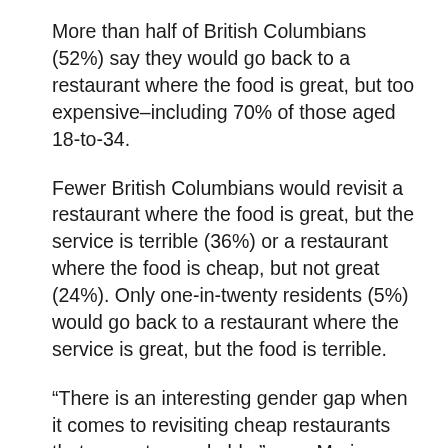More than half of British Columbians (52%) say they would go back to a restaurant where the food is great, but too expensive–including 70% of those aged 18-to-34.
Fewer British Columbians would revisit a restaurant where the food is great, but the service is terrible (36%) or a restaurant where the food is cheap, but not great (24%). Only one-in-twenty residents (5%) would go back to a restaurant where the service is great, but the food is terrible.
“There is an interesting gender gap when it comes to revisiting cheap restaurants that are not remarkable,” says Mario Canseco, President of Research Co. “Men in British Columbia (29%) are more likely to have no qualms about this